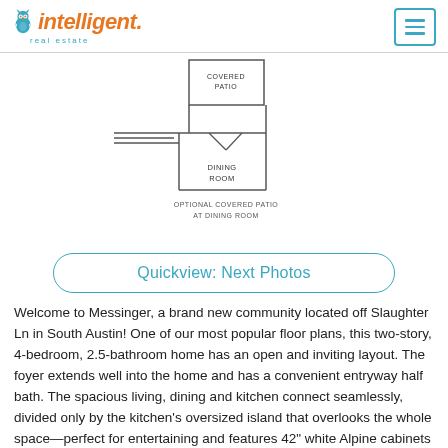Intelligent real estate
[Figure (engineering-diagram): Partial floor plan showing COVERED PATIO, DINING ROOM, and label OPTIONAL COVERED PATIO AT DINING ROOM]
Quickview: Next Photos
Welcome to Messinger, a brand new community located off Slaughter Ln in South Austin! One of our most popular floor plans, this two-story, 4-bedroom, 2.5-bathroom home has an open and inviting layout. The foyer extends well into the home and has a convenient entryway half bath. The spacious living, dining and kitchen connect seamlessly, divided only by the kitchen's oversized island that overlooks the whole space—perfect for entertaining and features 42" white Alpine cabinets and Startlight quartz countertops. The attached two-car